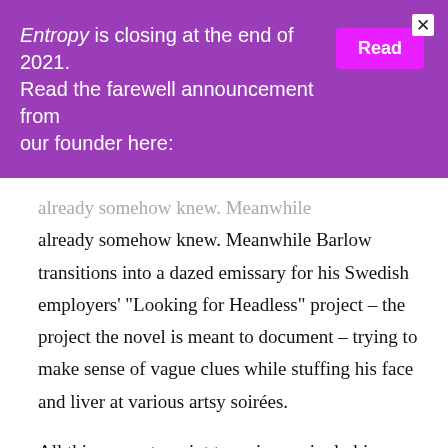Entropy is closing at the end of 2021. Read the farewell announcement from our founder here:
already somehow knew. Meanwhile Barlow transitions into a dazed emissary for his Swedish employers' “Looking for Headless” project – the project the novel is meant to document – trying to make sense of vague clues while stuffing his face and liver at various artsy soirées.
All this seems to point to an increasingly bizarre situation: that the novel’s production appears to take precedence over the action of the novel itself. (Which,